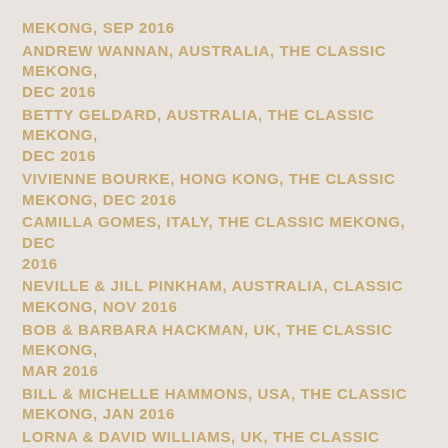MEKONG, SEP 2016
ANDREW WANNAN, AUSTRALIA, THE CLASSIC MEKONG, DEC 2016
BETTY GELDARD, AUSTRALIA, THE CLASSIC MEKONG, DEC 2016
VIVIENNE BOURKE, HONG KONG, THE CLASSIC MEKONG, DEC 2016
CAMILLA GOMES, ITALY, THE CLASSIC MEKONG, DEC 2016
NEVILLE & JILL PINKHAM, AUSTRALIA, CLASSIC MEKONG, NOV 2016
BOB & BARBARA HACKMAN, UK, THE CLASSIC MEKONG, MAR 2016
BILL & MICHELLE HAMMONS, USA, THE CLASSIC MEKONG, JAN 2016
LORNA & DAVID WILLIAMS, UK, THE CLASSIC MEKONG,